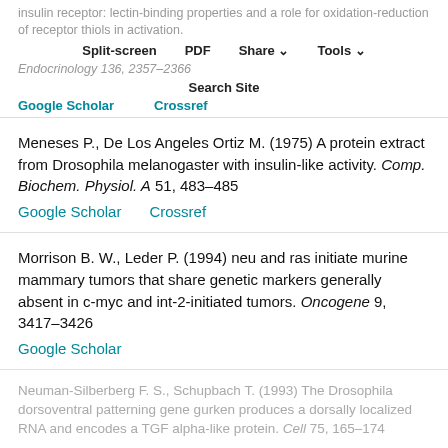insulin receptor: lectin-binding properties and a role for oxidation-reduction of receptor thiols in activation. Endocrinology 136, 2357–2366
Meneses P., De Los Angeles Ortiz M. (1975) A protein extract from Drosophila melanogaster with insulin-like activity. Comp. Biochem. Physiol. A 51, 483–485
Morrison B. W., Leder P. (1994) neu and ras initiate murine mammary tumors that share genetic markers generally absent in c-myc and int-2-initiated tumors. Oncogene 9, 3417–3426
Neuman-Silberberg F. S., Schupbach T. (1993) The Drosophila dorsoventral patterning gene gurken produces a dorsally localized RNA and encodes a TGF alpha-like protein. Cell 75, 165–174
This site uses cookies. By continuing to use our website, you are agreeing to our privacy policy. Accept